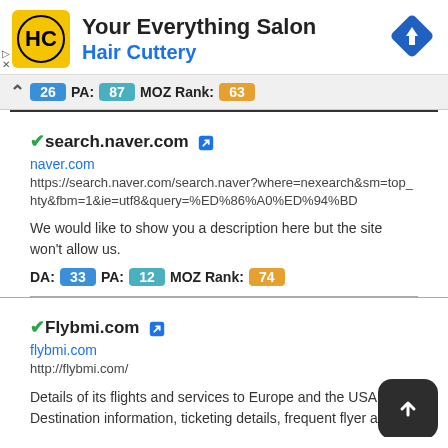[Figure (screenshot): Hair Cuttery advertisement banner with yellow logo and navigation icon]
26 PA: 87 MOZ Rank: 63
search.naver.com
naver.com
https://search.naver.com/search.naver?where=nexearch&sm=top_hty&fbm=1&ie=utf8&query=%ED%86%A0%ED%94%BD
We would like to show you a description here but the site won't allow us.
DA: 33 PA: 12 MOZ Rank: 74
Flybmi.com
flybmi.com
http://flybmi.com/
Details of its flights and services to Europe and the USA. Destination information, ticketing details, frequent flyer and